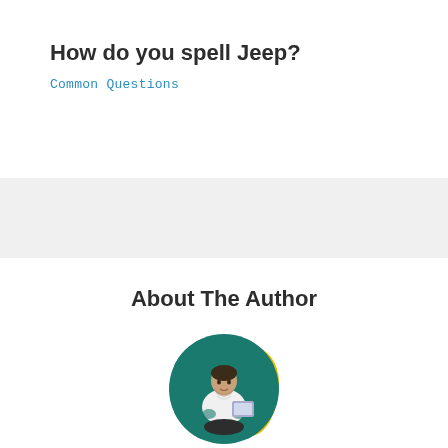How do you spell Jeep?
Common Questions
About The Author
[Figure (photo): Circular author photo showing a man sitting cross-legged with a laptop, set against a teal background with a yellow decorative blob shape behind it.]